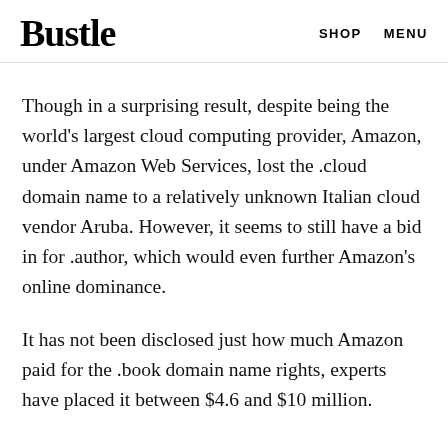Bustle  SHOP  MENU
Though in a surprising result, despite being the world's largest cloud computing provider, Amazon, under Amazon Web Services, lost the .cloud domain name to a relatively unknown Italian cloud vendor Aruba. However, it seems to still have a bid in for .author, which would even further Amazon's online dominance.
It has not been disclosed just how much Amazon paid for the .book domain name rights, experts have placed it between $4.6 and $10 million.